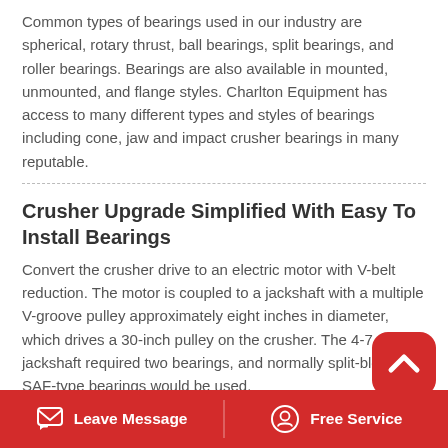Common types of bearings used in our industry are spherical, rotary thrust, ball bearings, split bearings, and roller bearings. Bearings are also available in mounted, unmounted, and flange styles. Charlton Equipment has access to many different types and styles of bearings including cone, jaw and impact crusher bearings in many reputable.
Crusher Upgrade Simplified With Easy To Install Bearings
Convert the crusher drive to an electric motor with V-belt reduction. The motor is coupled to a jackshaft with a multiple V-groove pulley approximately eight inches in diameter, which drives a 30-inch pulley on the crusher. The 4-7 16 inch jackshaft required two bearings, and normally split-block SAF-type bearings would be used.
What Is Stone Mining Stone Crushing Machine E...